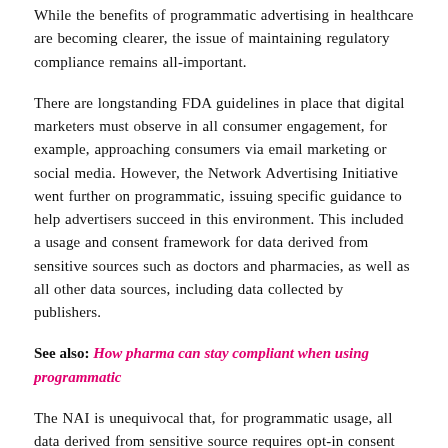While the benefits of programmatic advertising in healthcare are becoming clearer, the issue of maintaining regulatory compliance remains all-important.
There are longstanding FDA guidelines in place that digital marketers must observe in all consumer engagement, for example, approaching consumers via email marketing or social media. However, the Network Advertising Initiative went further on programmatic, issuing specific guidance to help advertisers succeed in this environment. This included a usage and consent framework for data derived from sensitive sources such as doctors and pharmacies, as well as all other data sources, including data collected by publishers.
See also: How pharma can stay compliant when using programmatic
The NAI is unequivocal that, for programmatic usage, all data derived from sensitive source requires opt-in consent from the patient. Beyond this, it establishes a clear distinction between data pertaining to sensitive health conditions (like HIV/AIDS, HPV, mental health, cancer, versus data on other conditions such as